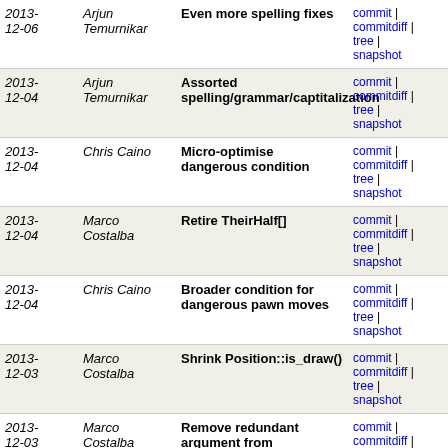| Date | Author | Message | Links |
| --- | --- | --- | --- |
| 2013-12-06 | Arjun Temurnikar | Even more spelling fixes | commit | commitdiff | tree | snapshot |
| 2013-12-04 | Arjun Temurnikar | Assorted spelling/grammar/captitalization | commit | commitdiff | tree | snapshot |
| 2013-12-04 | Chris Caino | Micro-optimise dangerous condition | commit | commitdiff | tree | snapshot |
| 2013-12-04 | Marco Costalba | Retire TheirHalf[] | commit | commitdiff | tree | snapshot |
| 2013-12-04 | Chris Caino | Broader condition for dangerous pawn moves | commit | commitdiff | tree | snapshot |
| 2013-12-03 | Marco Costalba | Shrink Position::is_draw() | commit | commitdiff | tree | snapshot |
| 2013-12-03 | Marco Costalba | Remove redundant argument from hidden_checkers() | commit | commitdiff | tree | snapshot |
| 2013-12-03 | Marco Costalba | Small improvment to Position::fen() | commit | commitdiff | tree | snapshot |
| 2013-12-03 | Jerry Donald | Re-fix a comment | commit | commitdiff | tree | snapshot |
| 2013-12-02 | Jerry Donald | Another round of spelling fixes | commit | commitdiff | tree | snapshot |
| 2013-... | Richard Lloyd | Big assorted spelling fixes | commit |